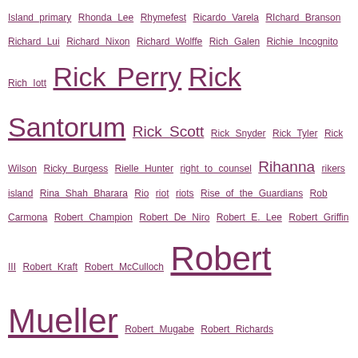Island primary Rhonda Lee Rhymefest Ricardo Varela RIchard Branson Richard Lui Richard Nixon Richard Wolffe Rich Galen Richie Incognito Rich Iott Rick Perry Rick Santorum Rick Scott Rick Snyder Rick Tyler Rick Wilson Ricky Burgess Rielle Hunter right to counsel Rihanna rikers island Rina Shah Bharara Rio riot riots Rise of the Guardians Rob Carmona Robert Champion Robert De Niro Robert E. Lee Robert Griffin III Robert Kraft Robert McCulloch Robert Mueller Robert Mugabe Robert Richards Robert Traynham Robin Robin Meade Robin Roberts Robin Wright Rob Lowe robocalls Rob Porter Rob Portman Rochelle Ritchie Rock the Vote Rod Rod Dreher rodeo clown Rodney Bruce Black Rodney King Rod Rosenstein Roger Goodell roger stone Rokhaya Diallo Roland Fryer Roland Martin Rolling Stone Romeo Crennel Romney Doctrine Romney mask Ronald Reagan Ron Bonjean Ron Brownstein Ron Christie Ron Desantis Ron Elving Ron Estes Ron Johnson Ronny Jackson Ron Paul Ron Reagan Ron Walters Rooney Rule Rosalind Jordan Roseanne Roseanne Barr Ross Douthat Ross Perot Roy Cooper Roy Middleton